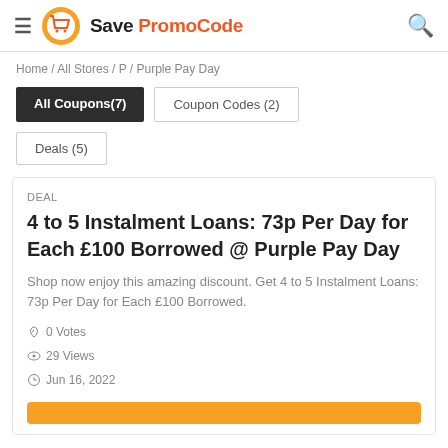Save PromoCode
Home / All Stores / P / Purple Pay Day
All Coupons(7)
Coupon Codes (2)
Deals (5)
DEAL
4 to 5 Instalment Loans: 73p Per Day for Each £100 Borrowed @ Purple Pay Day
Shop now enjoy this amazing discount. Get 4 to 5 Instalment Loans: 73p Per Day for Each £100 Borrowed.
0 Votes
29 Views
Jun 16, 2022